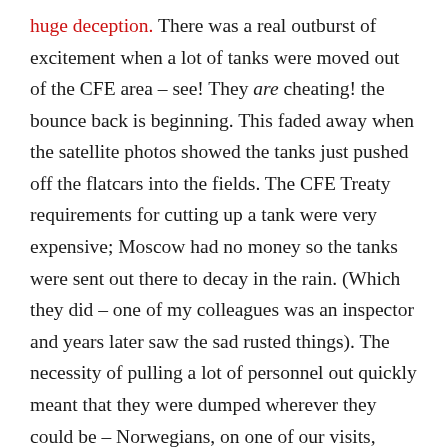huge deception. There was a real outburst of excitement when a lot of tanks were moved out of the CFE area – see! They are cheating! the bounce back is beginning. This faded away when the satellite photos showed the tanks just pushed off the flatcars into the fields. The CFE Treaty requirements for cutting up a tank were very expensive; Moscow had no money so the tanks were sent out there to decay in the rain. (Which they did – one of my colleagues was an inspector and years later saw the sad rusted things). The necessity of pulling a lot of personnel out quickly meant that they were dumped wherever they could be – Norwegians, on one of our visits, worried that there were too many in the Kola Peninsula. And dumped they were – there were reports of officers and their families living in railway cars or